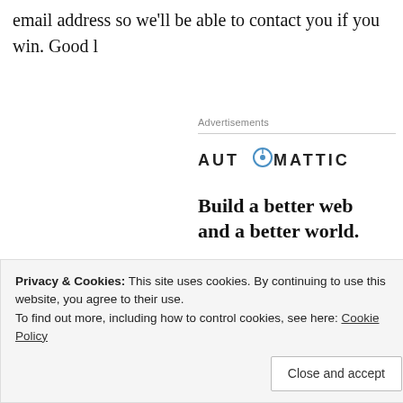email address so we'll be able to contact you if you win. Good l
Advertisements
[Figure (logo): Automattic logo with compass icon replacing the O]
Build a better web and a better world.
[Figure (other): Blue Apply button]
Privacy & Cookies: This site uses cookies. By continuing to use this website, you agree to their use.
To find out more, including how to control cookies, see here: Cookie Policy
Close and accept